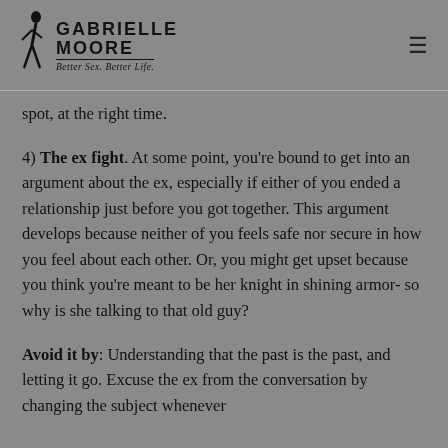GABRIELLE MOORE — Better Sex. Better Life.
spot, at the right time.
4) The ex fight. At some point, you're bound to get into an argument about the ex, especially if either of you ended a relationship just before you got together. This argument develops because neither of you feels safe nor secure in how you feel about each other. Or, you might get upset because you think you're meant to be her knight in shining armor- so why is she talking to that old guy?
Avoid it by: Understanding that the past is the past, and letting it go. Excuse the ex from the conversation by changing the subject whenever